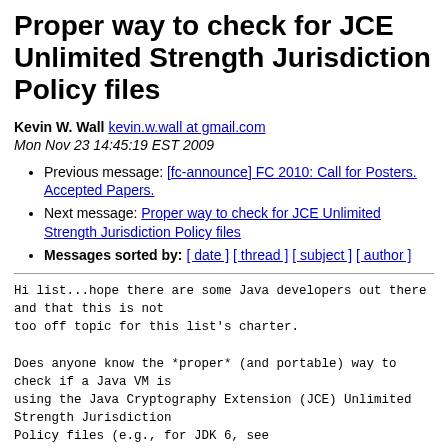Proper way to check for JCE Unlimited Strength Jurisdiction Policy files
Kevin W. Wall kevin.w.wall at gmail.com
Mon Nov 23 14:45:19 EST 2009
Previous message: [fc-announce] FC 2010: Call for Posters. Accepted Papers.
Next message: Proper way to check for JCE Unlimited Strength Jurisdiction Policy files
Messages sorted by: [ date ] [ thread ] [ subject ] [ author ]
Hi list...hope there are some Java developers out there and that this is not
too off topic for this list's charter.

Does anyone know the *proper* (and portable) way to check if a Java VM is
using the Java Cryptography Extension (JCE) Unlimited Strength Jurisdiction
Policy files (e.g., for JDK 6, see